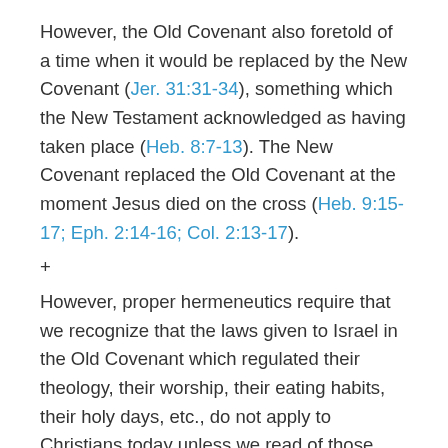However, the Old Covenant also foretold of a time when it would be replaced by the New Covenant (Jer. 31:31-34), something which the New Testament acknowledged as having taken place (Heb. 8:7-13). The New Covenant replaced the Old Covenant at the moment Jesus died on the cross (Heb. 9:15-17; Eph. 2:14-16; Col. 2:13-17).
+
However, proper hermeneutics require that we recognize that the laws given to Israel in the Old Covenant which regulated their theology, their worship, their eating habits, their holy days, etc., do not apply to Christians today unless we read of those same regulations given to us in the New Covenant.  For example, all ten of the commandments God gave to Moses at Mount Sinai are also commandments found